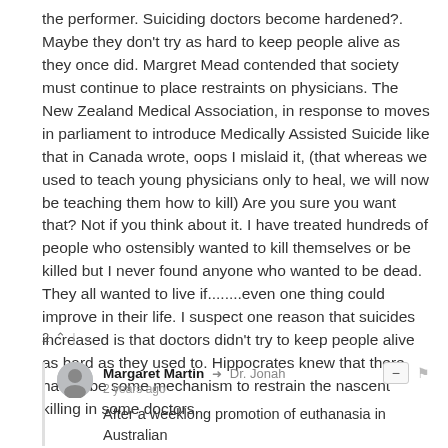the performer. Suiciding doctors become hardened?. Maybe they don't try as hard to keep people alive as they once did. Margret Mead contended that society must continue to place restraints on physicians. The New Zealand Medical Association, in response to moves in parliament to introduce Medically Assisted Suicide like that in Canada wrote, oops I mislaid it, (that whereas we used to teach young physicians only to heal, we will now be teaching them how to kill) Are you sure you want that? Not if you think about it. I have treated hundreds of people who ostensibly wanted to kill themselves or be killed but I never found anyone who wanted to be dead. They all wanted to live if........even one thing could improve in their life. I suspect one reason that suicides increased is that doctors didn't try to keep people alive as hard as they used to. Hippocrates knew that there had to be some mechanism to restrain the nascent killing in some doctors.
Margaret Martin → Dr. Jonah
2 years ago
After a weeklong promotion of euthanasia in Australian